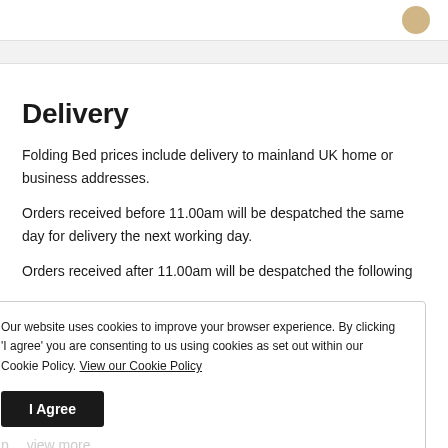Delivery
Folding Bed prices include delivery to mainland UK home or business addresses.
Orders received before 11.00am will be despatched the same day for delivery the next working day.
Orders received after 11.00am will be despatched the following
Our website uses cookies to improve your browser experience. By clicking 'I agree' you are consenting to us using cookies as set out within our Cookie Policy. View our Cookie Policy
I Agree